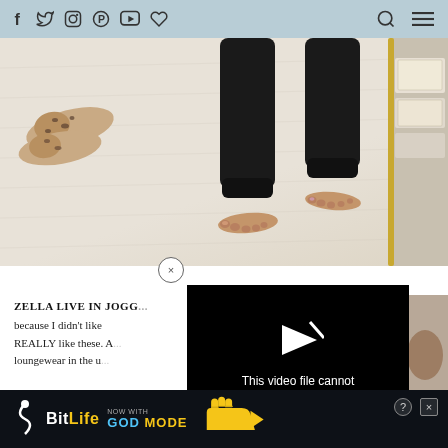Social media icons: Facebook, Twitter, Instagram, Pinterest, YouTube, heart/save | Search icon | Menu icon
[Figure (photo): Person standing barefoot on a cream/beige textured carpet wearing black jogger pants, with leopard print flats on the floor to the left, and a mirror with shoe boxes visible on the right side]
[Figure (screenshot): Close button (X in circle) above a video player overlay showing 'This video file cannot be played. (Error Code: 224003)' on black background with play arrow icon]
ZELLA LIVE IN JOGG...
because I didn't like ... REALLY like these. A... loungewear in the u...
[Figure (screenshot): Advertisement banner for BitLife game: 'NOW WITH GOD MODE' with colorful stylized text and pointing hand graphic]